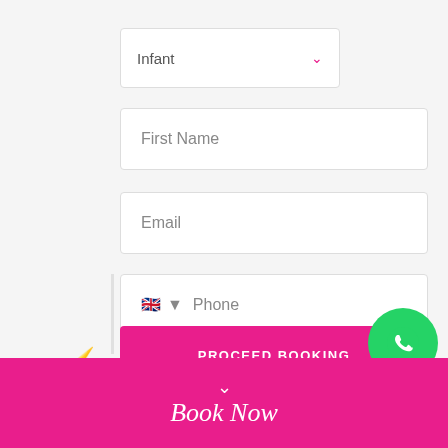[Figure (screenshot): Dropdown field showing 'Infant' with pink chevron down arrow]
[Figure (screenshot): Text input field with placeholder 'First Name']
[Figure (screenshot): Text input field with placeholder 'Email']
[Figure (screenshot): Phone input field with UK flag, dropdown arrow, and placeholder 'Phone']
[Figure (screenshot): Pink 'PROCEED BOOKING' button with lightning bolt icon to the left]
[Figure (screenshot): Green WhatsApp circular button in bottom right]
Book Now
[Figure (screenshot): Pink footer bar with chevron down and 'Book Now' italic text]